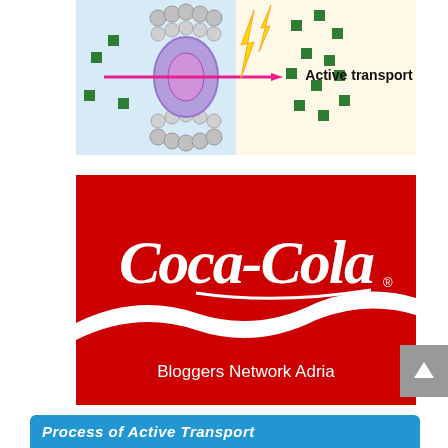[Figure (illustration): Diagram of active transport showing a cell membrane protein (purple sphere) embedded in a bilayer (grey beads), with green square molecules moving from low to high concentration (left to right via pink arrow), energy (yellow lightning bolt) released, and text label 'Active transport' on right side, on a light blue and cream background.]
[Figure (logo): Coca-Cola logo in white Spencerian script on a red background, with a white wave swoosh at the bottom and text 'Bloggers Network Adria' in white below the wave on the red background.]
Process of Active Transport